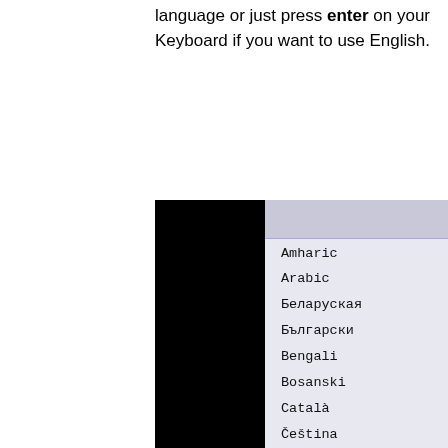language or just press enter on your Keyboard if you want to use English.
[Figure (screenshot): A dropdown list UI showing language selection options including Amharic, Arabic, Беларуская, Български, Bengali, Bosanski, Català, Čeština, Dansk, Deutsch, Dzongkha, Ελληνικά, and a highlighted English option at the bottom, on a dark background.]